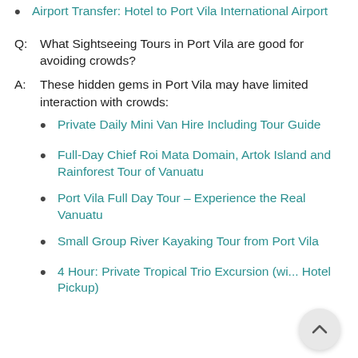Airport Transfer: Hotel to Port Vila International Airport
Q:  What Sightseeing Tours in Port Vila are good for avoiding crowds?
A:  These hidden gems in Port Vila may have limited interaction with crowds:
Private Daily Mini Van Hire Including Tour Guide
Full-Day Chief Roi Mata Domain, Artok Island and Rainforest Tour of Vanuatu
Port Vila Full Day Tour - Experience the Real Vanuatu
Small Group River Kayaking Tour from Port Vila
4 Hour: Private Tropical Trio Excursion (w... Hotel Pickup)